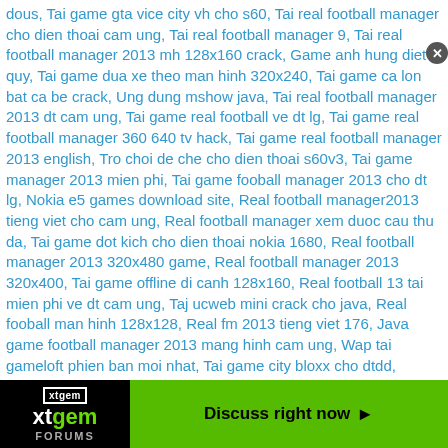dous, Tai game gta vice city vh cho s60, Tai real football manager cho dien thoai cam ung, Tai real football manager 9, Tai real football manager 2013 mh 128x160 crack, Game anh hung diet quy, Tai game dua xe theo man hinh 320x240, Tai game ca lon bat ca be crack, Ung dung mshow java, Tai real football manager 2013 dt cam ung, Tai game real football ve dt lg, Tai game real football manager 360 640 tv hack, Tai game real football manager 2013 english, Tro choi de che cho dien thoai s60v3, Tai game manager 2013 mien phi, Tai game fooball manager 2013 cho dt lg, Nokia e5 games download site, Real football manager2013 tieng viet cho cam ung, Real football manager xem duoc cau thu da, Tai game dot kich cho dien thoai nokia 1680, Real football manager 2013 320x480 game, Real football manager 2013 320x400, Tai game offline di canh 128x160, Real football 13 tai mien phi ve dt cam ung, Taj ucweb mini crack cho java, Real fooball man hinh 128x128, Real fm 2013 tieng viet 176, Java game football manager 2013 mang hinh cam ung, Wap tai gameloft phien ban moi nhat, Tai game city bloxx cho dtdd, Download football manager s40, Chien thuat football manage 2013, Phan men tin nhan mau kute chao buoi sang y nghia java, Bedava samsung corby 2 320 240 java oyun indir, Tai game quyen vuong, Game 9mobi, Tai games co tuong cho nokia asha 200, Tai game quyen vuong cho nokia n70, Tai game quyen vuong cho dt nokia c3 00, Game quyen vuong cho man hinh 128x160, Game quyen vuong cho dien thoai nokia c2, Tai game full crack cho x2 0 2, Tai gameloft mien phi, Tai game tran chien xich bich man hinh 2690, Tai game dai chien xich bich, Ucweb cho 5130, Tai game phong than cho dt man hinh 128 160, Tro choi thieu lam tu, Tai game chua te cua nhung chiec nhan 3d mien phi, Tai game sky galgen cho sum sung, Tro choi thieu lam tu 3, Tro choi thieu lam tu thieu lam ky truyen ve dien thoai e71, Thieu lam 2 crack cho s60v2 a 620, Thieu lam 3 crack cho dien thoai nokia e72, Taj game thjeu lam tu mjen phj cho 2330, Tai tro choi duoi hinh bat chu ve dien
[Figure (other): xtgem forums advertisement banner with close button, green 'Discuss right now' button on right]